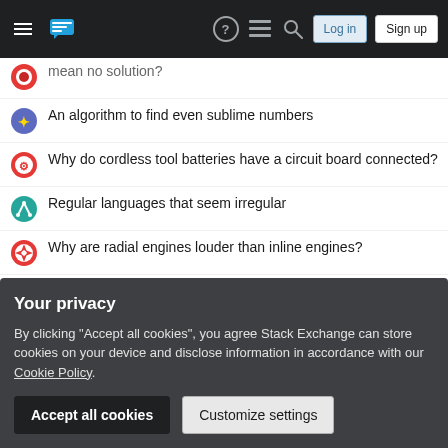Stack Exchange navigation header with Log in and Sign up buttons
mean no solution?
An algorithm to find even sublime numbers
Why do cordless tool batteries have a circuit board connected?
Regular languages that seem irregular
Why are radial engines louder than inline engines?
Is there a significance of the novel left behind "Here Comes a Candle"?
Non-existence of "higher" Artin map
Why are there five chromatic dragons and not four?
Is it legal to accidentally hunt on private property?
Your privacy
By clicking "Accept all cookies", you agree Stack Exchange can store cookies on your device and disclose information in accordance with our Cookie Policy.
Why have later books in the Wrinkle in Time series never got much